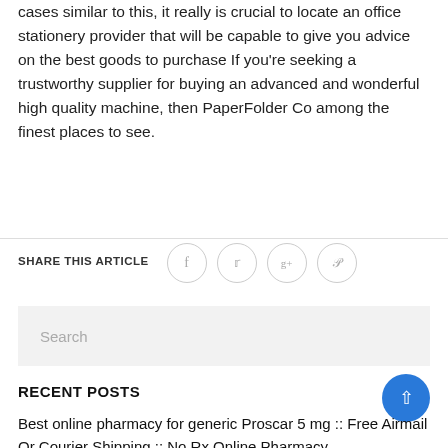cases similar to this, it really is crucial to locate an office stationery provider that will be capable to give you advice on the best goods to purchase If you’re seeking a trustworthy supplier for buying an advanced and wonderful high quality machine, then PaperFolder Co among the finest places to see.
SHARE THIS ARTICLE
[Figure (other): Social share icons: Facebook, Twitter, Google+, Pinterest as circular outline buttons]
[Figure (other): Search input box with placeholder text 'Search']
RECENT POSTS
Best online pharmacy for generic Proscar 5 mg :: Free Airmail Or Courier Shipping :: No Rx Online Pharmacy